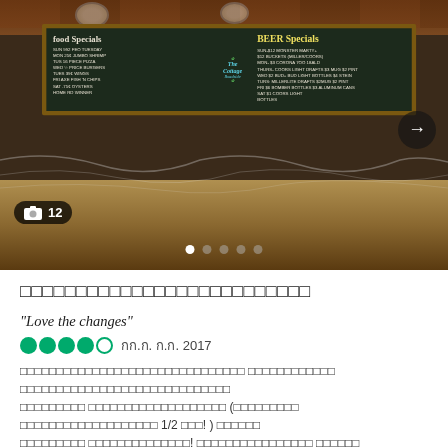[Figure (photo): Restaurant interior photo showing a chalkboard sign with 'Food Specials' and 'Beer Specials' written on it. The sign is mounted on a wood-paneled wall. Below the sign is a bar counter with white decorative webbing/fabric. A navigation arrow is visible on the right side.]
12
□□□□□□□□□□□□□□□□□□□□□□□□□□
"Love the changes"
กก.ก. ก.ก. 2017
□□□□□□□□□□□□□□□□□□□□□□□□□□ □□□□□□□□□□□□ □□□□□□□□□□□□□□□□□□□□□□□□□□□ □□□□□□□□□ □□□□□□□□□□□□□□□□□□□ (□□□□□□□□□ □□□□□□□□□□□□□□□□□□□ 1/2 □□□! ) □□□□□□ □□□□□□□□□ □□□□□□□□□□□□□□! □□□□□□□□□□□□□□□□ □□□□□□ □□□□□□□□□□□□□□ □...
□□□ Kim O
"□□□□□□□□□□□□□□□□□□□□"